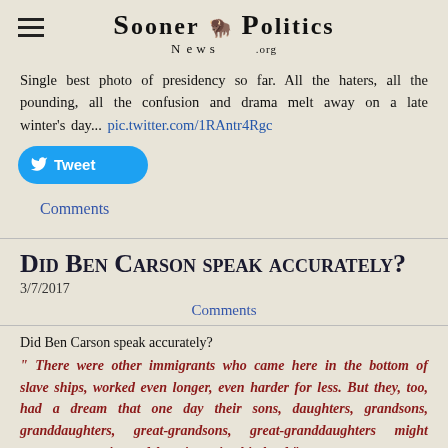SOONER POLITICS NEWS .ORG
Single best photo of presidency so far. All the haters, all the pounding, all the confusion and drama melt away on a late winter's day... pic.twitter.com/1RAntr4Rgc
[Figure (other): Twitter Tweet button (blue rounded rectangle with bird icon and 'Tweet' text)]
Comments
Did Ben Carson speak accurately?
3/7/2017
Comments
Did Ben Carson speak accurately?
" There were other immigrants who came here in the bottom of slave ships, worked even longer, even harder for less. But they, too, had a dream that one day their sons, daughters, grandsons, granddaughters, great-grandsons, great-granddaughters might pursue prosperity and happiness in this land."